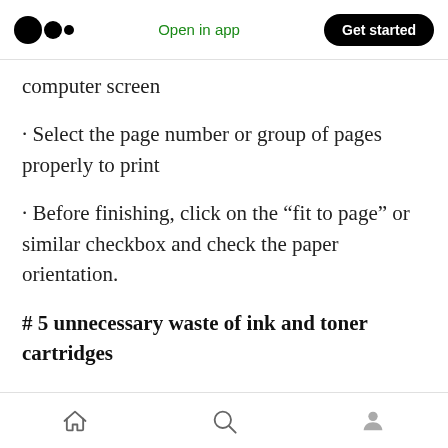Open in app | Get started
computer screen
· Select the page number or group of pages properly to print
· Before finishing, click on the “fit to page” or similar checkbox and check the paper orientation.
# 5 unnecessary waste of ink and toner cartridges
The life of ink and toner cartridges has nothing
Home | Search | Profile